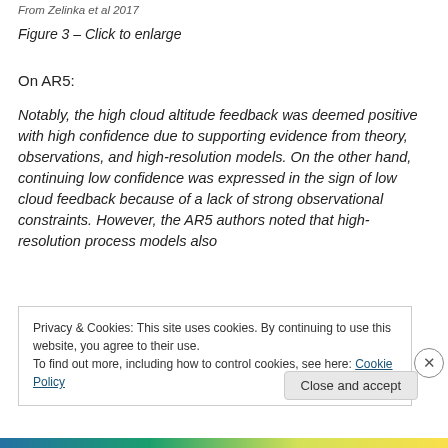From Zelinka et al 2017
Figure 3 – Click to enlarge
On AR5:
Notably, the high cloud altitude feedback was deemed positive with high confidence due to supporting evidence from theory, observations, and high-resolution models. On the other hand, continuing low confidence was expressed in the sign of low cloud feedback because of a lack of strong observational constraints. However, the AR5 authors noted that high-resolution process models also
Privacy & Cookies: This site uses cookies. By continuing to use this website, you agree to their use.
To find out more, including how to control cookies, see here: Cookie Policy